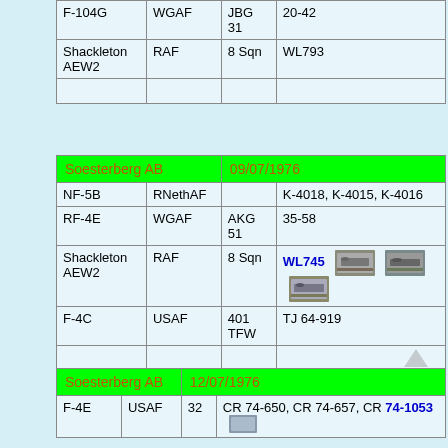| Aircraft | Operator | Unit | Serial/Notes |
| --- | --- | --- | --- |
| F-104G | WGAF | JBG 31 | 20-42 |
| Shackleton AEW2 | RAF | 8 Sqn | WL793 |
|  |  |  |  |
| Soesterberg AB |  |  | 09/07/1976 |
| --- | --- | --- | --- |
| NF-5B | RNethAF |  | K-4018, K-4015, K-4016 |
| RF-4E | WGAF | AKG 51 | 35-58 |
| Shackleton AEW2 | RAF | 8 Sqn | WL745 [photos] |
| F-4C | USAF | 401 TFW | TJ 64-919 |
|  |  |  |  |
| Soesterberg AB |  |  | 12/07/1976 |
| --- | --- | --- | --- |
| F-4E | USAF | 32 | CR 74-650, CR 74-657, CR 74-1053 |